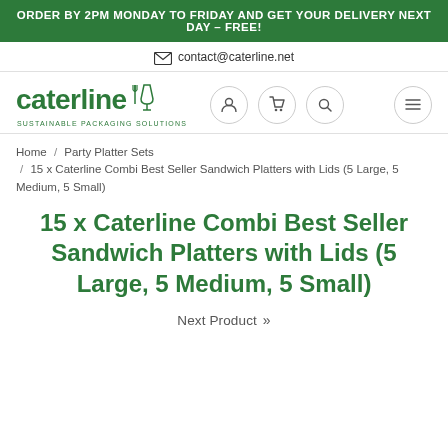ORDER BY 2PM MONDAY TO FRIDAY AND GET YOUR DELIVERY NEXT DAY – FREE!
contact@caterline.net
[Figure (logo): Caterline logo with fork and glass icon, subtitle SUSTAINABLE PACKAGING SOLUTIONS]
Home / Party Platter Sets / 15 x Caterline Combi Best Seller Sandwich Platters with Lids (5 Large, 5 Medium, 5 Small)
15 x Caterline Combi Best Seller Sandwich Platters with Lids (5 Large, 5 Medium, 5 Small)
Next Product »